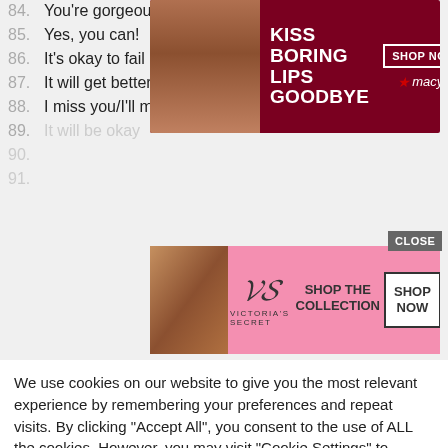84. You're gorgeous
85. Yes, you can!
86. It's okay to fail
87. It will get better
88. I miss you/I'll miss you/I missed you
89. It will be okay
90.
91.
[Figure (illustration): Macy's advertisement banner: KISS BORING LIPS GOODBYE with SHOP NOW button and Macy's star logo on dark red background]
[Figure (illustration): Victoria's Secret advertisement banner: SHOP THE COLLECTION with SHOP NOW button, pink background with model and VS logo]
We use cookies on our website to give you the most relevant experience by remembering your preferences and repeat visits. By clicking "Accept All", you consent to the use of ALL the cookies. However, you may visit "Cookie Settings" to provide a controlled consent.
Cookie Settings | Accept All